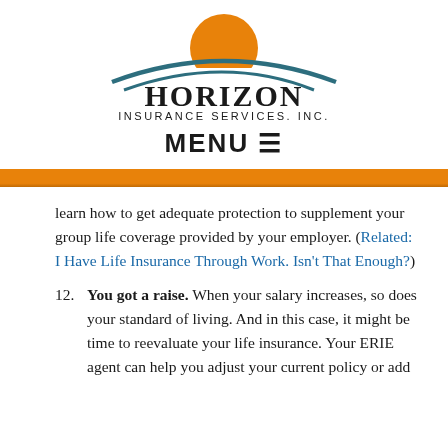[Figure (logo): Horizon Insurance Services, Inc. logo with orange sun and teal swoosh above company name]
MENU ≡
learn how to get adequate protection to supplement your group life coverage provided by your employer. (Related: I Have Life Insurance Through Work. Isn't That Enough?)
12. You got a raise. When your salary increases, so does your standard of living. And in this case, it might be time to reevaluate your life insurance. Your ERIE agent can help you adjust your current policy or add